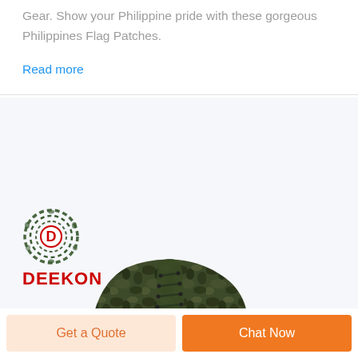Gear. Show your Philippine pride with these gorgeous Philippines Flag Patches.
Read more
[Figure (logo): DEEKON brand logo with circular camouflage-pattern target design and red 'D' in center, with bold red text 'DEEKON' below]
[Figure (photo): Camouflage high-top tactical/military sneaker boot with dark green and black pattern, black laces and rubber sole, shown at an angle]
Get a Quote
Chat Now